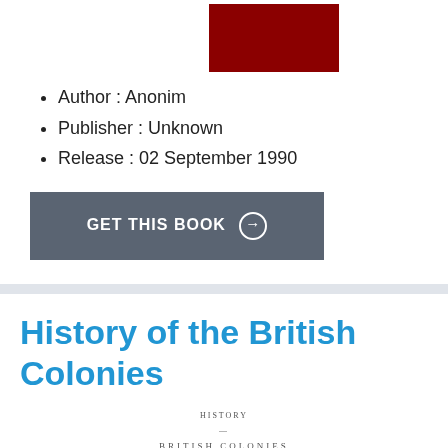[Figure (other): Dark red/maroon book cover thumbnail image]
Author : Anonim
Publisher : Unknown
Release : 02 September 1990
[Figure (other): GET THIS BOOK button with arrow icon]
History of the British Colonies
[Figure (other): Small book title page thumbnail showing HISTORY OF THE BRITISH COLONIES text]